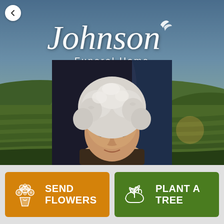[Figure (screenshot): Johnson Funeral Home website screenshot showing the funeral home logo over a rural landscape background with rolling green fields and blue sky, with a portrait photo of an elderly woman with white curly hair in the lower center, and two call-to-action buttons: 'Send Flowers' (orange) and 'Plant a Tree' (green).]
Johnson Funeral Home
SEND FLOWERS
PLANT A TREE